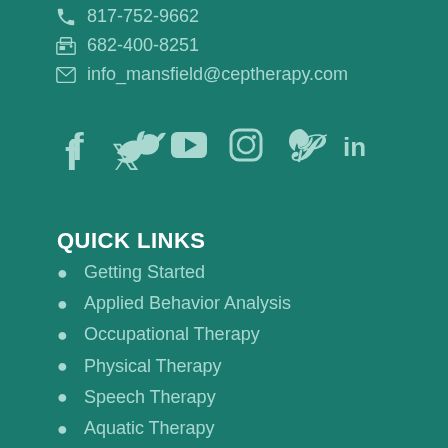817-752-9662
682-400-8251
info_mansfield@ceptherapy.com
[Figure (illustration): Social media icons: Facebook, Twitter, YouTube, Instagram, Pinterest, LinkedIn]
QUICK LINKS
Getting Started
Applied Behavior Analysis
Occupational Therapy
Physical Therapy
Speech Therapy
Aquatic Therapy
School/Evaluations
Transition to Adulthood
Parents